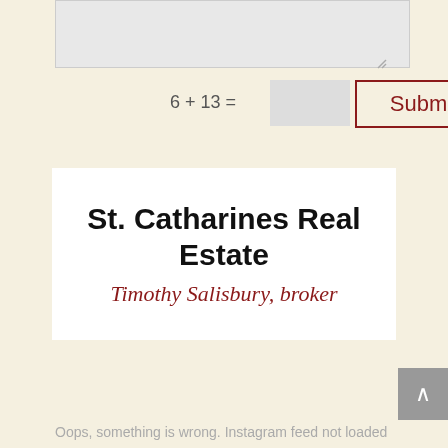[Figure (screenshot): Textarea input box (partially visible at top of page)]
6 + 13 =
Submit
[Figure (logo): St. Catharines Real Estate logo card with white background. Bold black text reads 'St. Catharines Real Estate' and below in dark red italic serif font 'Timothy Salisbury, broker']
Oops, something is wrong. Instagram feed not loaded